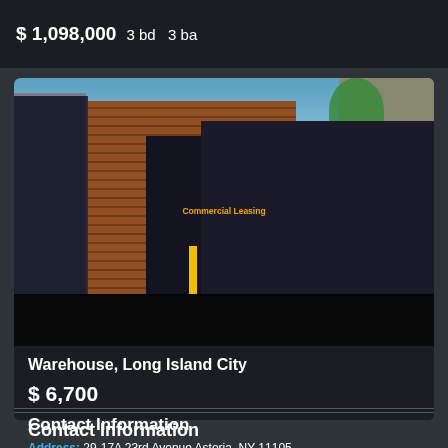$ 1,098,000  3 bd  3 ba
[Figure (photo): Exterior photo of a brick warehouse building with roll-up garage doors in Long Island City, with a 'Commercial Leasing' sign visible]
Warehouse, Long Island City
$ 6,700
Contact Information
Address: 29-17A 23rd Avenue Astoria, NY 11105
Phone: (718) 545-9700
Fax: (718) 267-9094
E-mail: office@metropolisrealtor.com